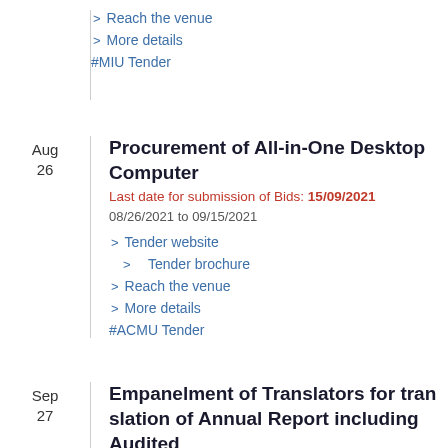> Reach the venue
> More details
#MIU Tender
Aug 26
Procurement of All-in-One Desktop Computer
Last date for submission of Bids: 15/09/2021
08/26/2021 to 09/15/2021
> Tender website
> Tender brochure
> Reach the venue
> More details
#ACMU Tender
Sep 27
Empanelment of Translators for translation of Annual Report including Audited